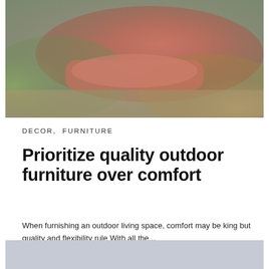[Figure (photo): Outdoor furniture with pink/red cushions and green elements, photographed outdoors]
DECOR,  FURNITURE
Prioritize quality outdoor furniture over comfort
When furnishing an outdoor living space, comfort may be king but quality and flexibility rule With all the...
1 SHARES
[Figure (photo): Light blue-gray partial image at bottom of page]